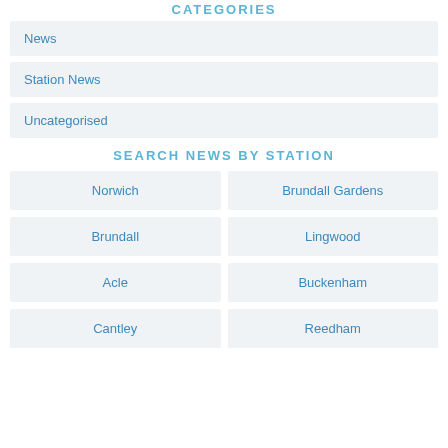CATEGORIES
News
Station News
Uncategorised
SEARCH NEWS BY STATION
Norwich
Brundall Gardens
Brundall
Lingwood
Acle
Buckenham
Cantley
Reedham